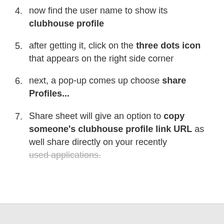4. now find the user name to show its clubhouse profile
5. after getting it, click on the three dots icon that appears on the right side corner
6. next, a pop-up comes up choose share Profiles...
7. Share sheet will give an option to copy someone's clubhouse profile link URL as well share directly on your recently used applications.